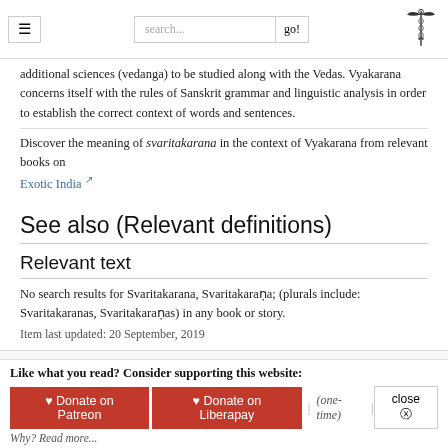Navigation and search header with hamburger menu, search box, and caduceus logo
additional sciences (vedanga) to be studied along with the Vedas. Vyakarana concerns itself with the rules of Sanskrit grammar and linguistic analysis in order to establish the correct context of words and sentences.
Discover the meaning of svaritakarana in the context of Vyakarana from relevant books on Exotic India
See also (Relevant definitions)
Relevant text
No search results for Svaritakarana, Svaritakaraṇa; (plurals include: Svaritakaranas, Svaritakaraṇas) in any book or story.
Item last updated: 20 September, 2019
wisdomlib - the greatest source of ancient and modern knowledge;
Like what you read? Consider supporting this website:
♥ Donate on Patreon   ♥ Donate on Liberapay   | (one-time) |   close ⓧ
Why? Read more...